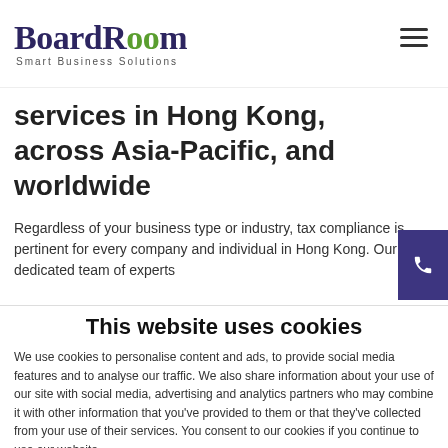BoardRoom Smart Business Solutions
services in Hong Kong, across Asia-Pacific, and worldwide
Regardless of your business type or industry, tax compliance is pertinent for every company and individual in Hong Kong. Our dedicated team of experts
This website uses cookies
We use cookies to personalise content and ads, to provide social media features and to analyse our traffic. We also share information about your use of our site with social media, advertising and analytics partners who may combine it with other information that you've provided to them or that they've collected from your use of their services. You consent to our cookies if you continue to use our website.
OK